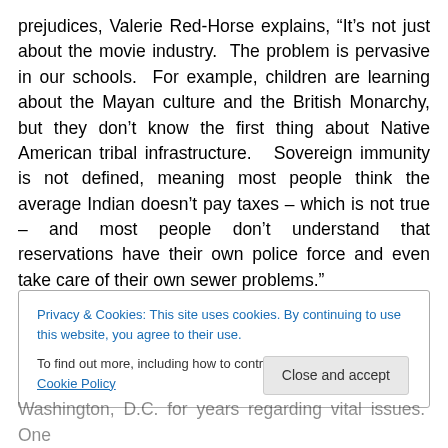prejudices, Valerie Red-Horse explains, “It’s not just about the movie industry. The problem is pervasive in our schools. For example, children are learning about the Mayan culture and the British Monarchy, but they don’t know the first thing about Native American tribal infrastructure. Sovereign immunity is not defined, meaning most people think the average Indian doesn’t pay taxes – which is not true – and most people don’t understand that reservations have their own police force and even take care of their own sewer problems.”
Privacy & Cookies: This site uses cookies. By continuing to use this website, you agree to their use. To find out more, including how to control cookies, see here: Cookie Policy
Washington, D.C. for years regarding vital issues. One